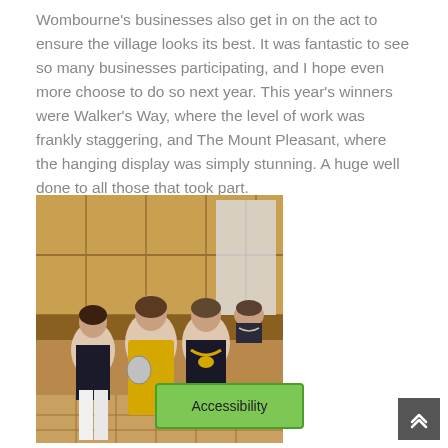Wombourne's businesses also get in on the act to ensure the village looks its best. It was fantastic to see so many businesses participating, and I hope even more choose to do so next year. This year's winners were Walker's Way, where the level of work was frankly staggering, and The Mount Pleasant, where the hanging display was simply stunning. A huge well done to all those that took part.
[Figure (photo): Four people standing in what appears to be a wood-panelled council chamber. Two women on the left, one holding a shield/plaque award, a man wearing a mayoral chain in the centre-right, and another man seated at a desk in the background.]
Accessibility